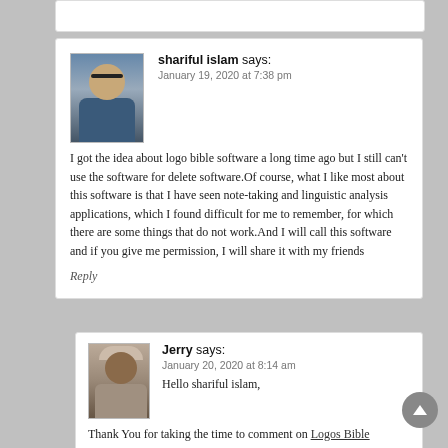shariful islam says:
January 19, 2020 at 7:38 pm
I got the idea about logo bible software a long time ago but I still can't use the software for delete software.Of course, what I like most about this software is that I have seen note-taking and linguistic analysis applications, which I found difficult for me to remember, for which there are some things that do not work.And I will call this software and if you give me permission, I will share it with my friends
Reply
Jerry says:
January 20, 2020 at 8:14 am
Hello shariful islam,
Thank You for taking the time to comment on Logos Bible Software – Product Review.